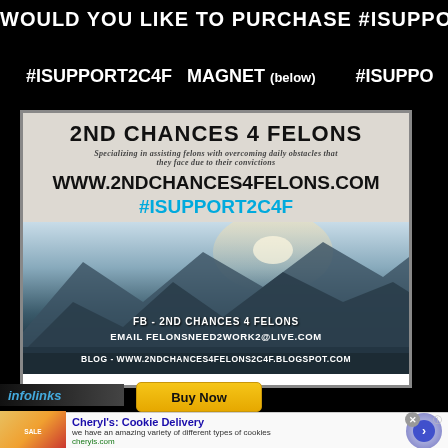WOULD YOU LIKE TO PURCHASE #ISUPPO
#ISUPPORT2C4F  MAGNET (below)        #ISUPPO
[Figure (infographic): 2nd Chances 4 Felons promotional magnet image. Shows bold text '2ND CHANCES 4 FELONS', subtitle 'Specializing in assisting felons with overcoming daily obstacles that they face due to their convictions', website www.2ndchances4felons.com, hashtag #ISUPPORT2C4F in cyan, mountain landscape background, and contact info: FB - 2ND CHANCES 4 FELONS, EMAIL FELONSNEED2WORK2@LIVE.COM, BLOG - WWW.2NDCHANCES4FELONS2C4F.BLOGSPOT.COM]
Buy Now
infolinks
Cheryl's: Cookie Delivery
we have an amazing variety of different types of cookies
cheryls.com